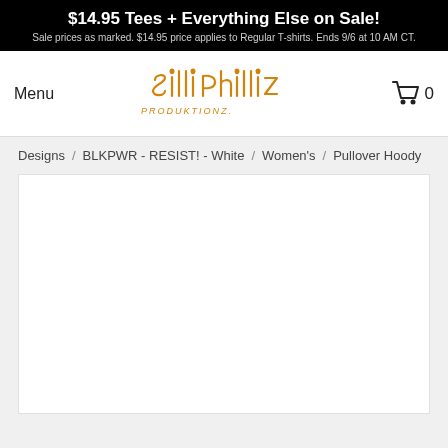$14.95 Tees + Everything Else on Sale! Sale prices as marked. $14.95 price applies to Regular T-shirts. Ends 9/6 at 10 AM CT.
[Figure (logo): Silli Philliz Produktionz handwritten orange graffiti-style logo]
Menu
[Figure (other): Shopping cart icon with 0 items]
Designs / BLKPWR - RESIST! - White / Women's / Pullover Hoody
[Figure (photo): White product image area for Pullover Hoody]